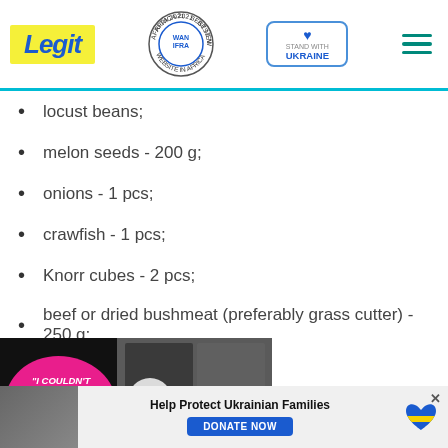Legit | WAN-IFRA 2021 Best News Website in Africa | Stand with Ukraine
locust beans;
melon seeds - 200 g;
onions - 1 pcs;
crawfish - 1 pcs;
Knorr cubes - 2 pcs;
beef or dried bushmeat (preferably grass cutter) - 250 g;
salt;
[Figure (screenshot): Video overlay with pink blob text reading 'I COULDN'T DO THIS WITHOUT HER' and two people (man and woman) with a play button in center, and a red dismiss chevron button]
[Figure (infographic): Ad banner: Help Protect Ukrainian Families with DONATE NOW button and Ukrainian heart logo, with small photo of people on left]